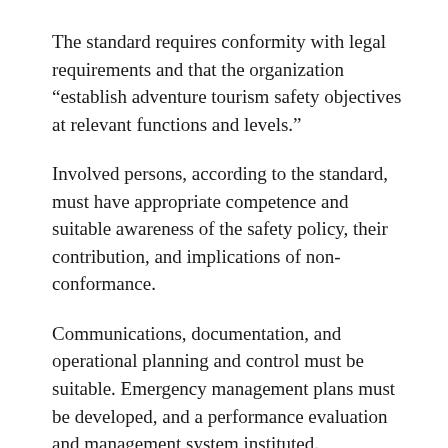The standard requires conformity with legal requirements and that the organization “establish adventure tourism safety objectives at relevant functions and levels.”
Involved persons, according to the standard, must have appropriate competence and suitable awareness of the safety policy, their contribution, and implications of non-conformance.
Communications, documentation, and operational planning and control must be suitable. Emergency management plans must be developed, and a performance evaluation and management system instituted.